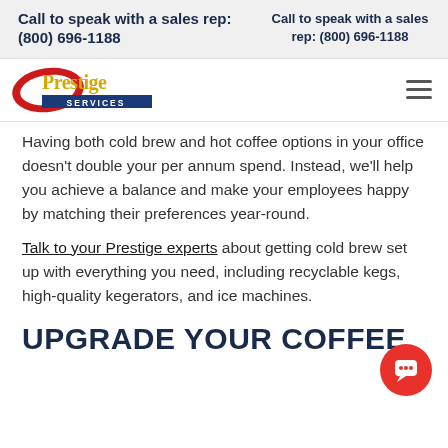Call to speak with a sales rep: (800) 696-1188
Call to speak with a sales rep: (800) 696-1188
[Figure (logo): Prestige Services logo with red swoosh and yellow/gold text]
Having both cold brew and hot coffee options in your office doesn't double your per annum spend. Instead, we'll help you achieve a balance and make your employees happy by matching their preferences year-round.
Talk to your Prestige experts about getting cold brew set up with everything you need, including recyclable kegs, high-quality kegerators, and ice machines.
UPGRADE YOUR COFFEE